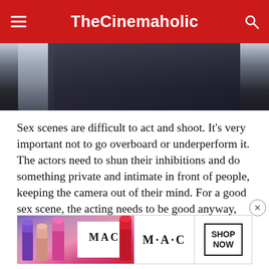TheCinemaholic
[Figure (photo): Partial photo of a person in dark clothing against a snowy background]
Sex scenes are difficult to act and shoot. It's very important not to go overboard or underperform it. The actors need to shun their inhibitions and do something private and intimate in front of people, keeping the camera out of their mind. For a good sex scene, the acting needs to be good anyway, but other than that, it's very important to write... in the s... ing, the editing and the choreography are
[Figure (infographic): MAC cosmetics advertisement showing colorful lipsticks with SHOP NOW button]